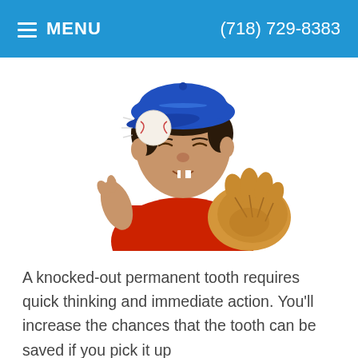MENU  (718) 729-8383
[Figure (photo): Young boy wearing a blue baseball cap and red shirt with a baseball glove, wincing as a baseball flies toward his face]
A knocked-out permanent tooth requires quick thinking and immediate action. You'll increase the chances that the tooth can be saved if you pick it up